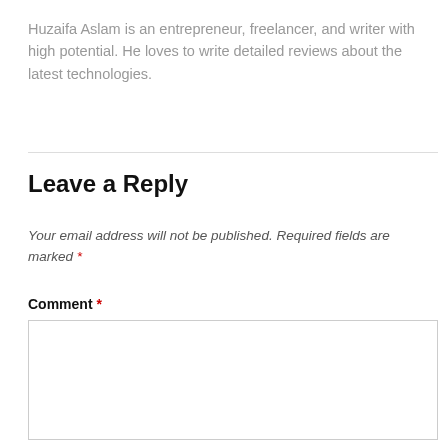Huzaifa Aslam is an entrepreneur, freelancer, and writer with high potential. He loves to write detailed reviews about the latest technologies.
Leave a Reply
Your email address will not be published. Required fields are marked *
Comment *